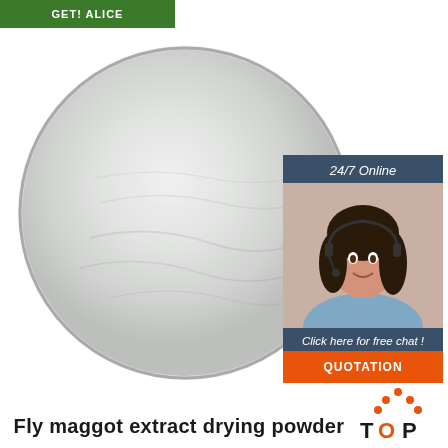[Figure (other): Green navigation bar at top left with text 'Get! Alice']
[Figure (photo): A circular petri dish or container filled with white/light grey powdered substance — fly maggot extract drying powder]
[Figure (photo): Customer service chat widget: dark blue background with '24/7 Online' header, photo of smiling woman with headset, 'Click here for free chat!' text, and orange QUOTATION button]
Fly maggot extract drying powder
[Figure (logo): TOP logo with orange dots forming a house/roof shape above the word TOP in orange and dark text]